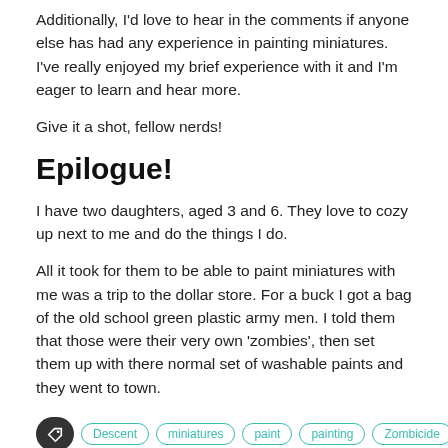Additionally, I'd love to hear in the comments if anyone else has had any experience in painting miniatures. I've really enjoyed my brief experience with it and I'm eager to learn and hear more.
Give it a shot, fellow nerds!
Epilogue!
I have two daughters, aged 3 and 6. They love to cozy up next to me and do the things I do.
All it took for them to be able to paint miniatures with me was a trip to the dollar store. For a buck I got a bag of the old school green plastic army men. I told them that those were their very own 'zombies', then set them up with there normal set of washable paints and they went to town.
Tags: Descent, miniatures, paint, painting, Zombicide, Zombie